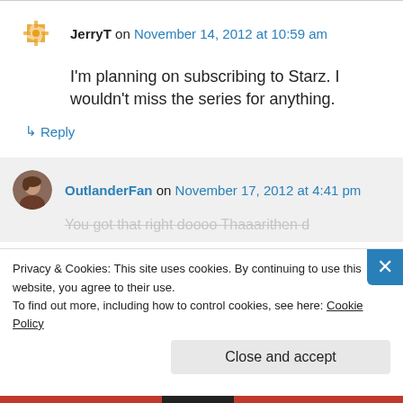JerryT on November 14, 2012 at 10:59 am
I'm planning on subscribing to Starz. I wouldn't miss the series for anything.
↳ Reply
OutlanderFan on November 17, 2012 at 4:41 pm
Privacy & Cookies: This site uses cookies. By continuing to use this website, you agree to their use. To find out more, including how to control cookies, see here: Cookie Policy
Close and accept